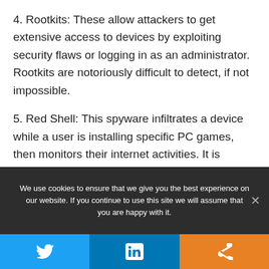4. Rootkits: These allow attackers to get extensive access to devices by exploiting security flaws or logging in as an administrator. Rootkits are notoriously difficult to detect, if not impossible.
5. Red Shell: This spyware infiltrates a device while a user is installing specific PC games, then monitors their internet activities. It is commonly utilized by game creators to improve their games and marketing initiatives.
We use cookies to ensure that we give you the best experience on our website. If you continue to use this site we will assume that you are happy with it.